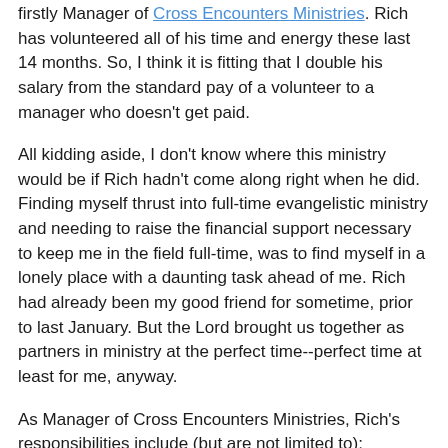firstly Manager of Cross Encounters Ministries. Rich has volunteered all of his time and energy these last 14 months. So, I think it is fitting that I double his salary from the standard pay of a volunteer to a manager who doesn't get paid.
All kidding aside, I don't know where this ministry would be if Rich hadn't come along right when he did. Finding myself thrust into full-time evangelistic ministry and needing to raise the financial support necessary to keep me in the field full-time, was to find myself in a lonely place with a daunting task ahead of me. Rich had already been my good friend for sometime, prior to last January. But the Lord brought us together as partners in ministry at the perfect time--perfect time at least for me, anyway.
As Manager of Cross Encounters Ministries, Rich's responsibilities include (but are not limited to):
Maintaining my ministry calendar
Vetting and answering/accepting/declining all speaking, interview, and travel requests